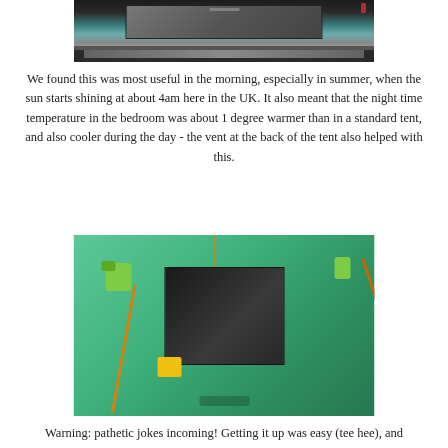[Figure (photo): Interior view of tent showing dark sleeping compartment with window/vent opening at top, grey floor visible]
We found this was most useful in the morning, especially in summer, when the sun starts shining at about 4am here in the UK. It also meant that the night time temperature in the bedroom was about 1 degree warmer than in a standard tent, and also cooler during the day - the vent at the back of the tent also helped with this.
[Figure (photo): Exterior view of green tent showing a dark vent/window panel secured with orange/yellow ropes and green clips]
Warning: pathetic jokes incoming! Getting it up was easy (tee hee), and